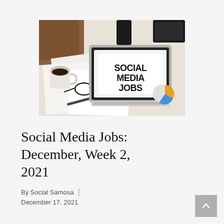[Figure (photo): A laptop on a desk displaying 'SOCIAL MEDIA JOBS' on its screen, surrounded by papers, glasses, a coffee cup, and documents with charts.]
Social Media Jobs: December, Week 2, 2021
By Social Samosa
December 17, 2021